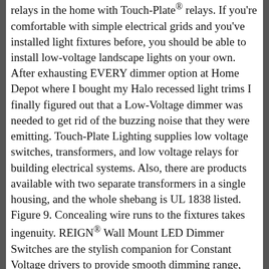relays in the home with Touch-Plate® relays. If you're comfortable with simple electrical grids and you've installed light fixtures before, you should be able to install low-voltage landscape lights on your own. After exhausting EVERY dimmer option at Home Depot where I bought my Halo recessed light trims I finally figured out that a Low-Voltage dimmer was needed to get rid of the buzzing noise that they were emitting. Touch-Plate Lighting supplies low voltage switches, transformers, and low voltage relays for building electrical systems. Also, there are products available with two separate transformers in a single housing, and the whole shebang is UL 1838 listed. Figure 9. Concealing wire runs to the fixtures takes ingenuity. REIGN® Wall Mount LED Dimmer Switches are the stylish companion for Constant Voltage drivers to provide smooth dimming range, from 100% – 1%, with no flickering, humming, or jumping. That wire will connect to all the fixtures in the zone. When you buy a Kichler In-Line Low Voltage Light Switch online from  we